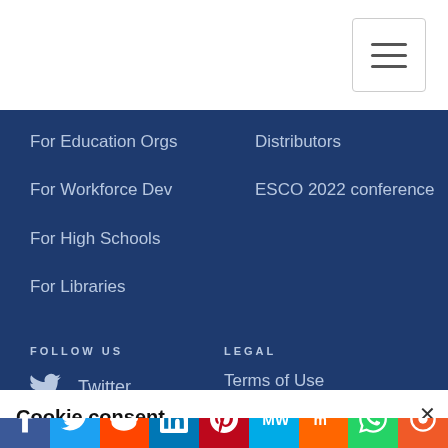For Education Orgs
Distributors
For Workforce Dev
ESCO 2022 conference
For High Schools
For Libraries
FOLLOW US
Twitter
LEGAL
Terms of Use
Cookie consent
This website or its third party tools use cookies, which are necessary to its functioning and required to achieve the purposes illustrated in the Privacy Policy. If you want to know more or withdraw your consent to all or some of the cookies, please refer to the Privacy Policy. By closing this banner, scrolling this page, clicking a link or